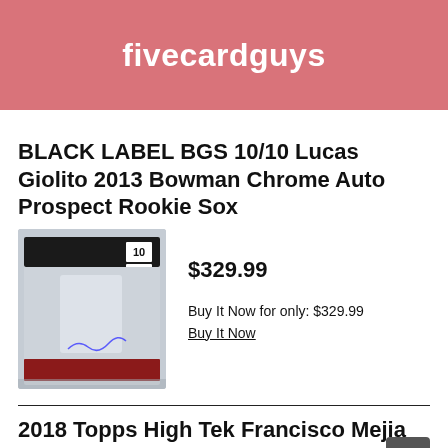fivecardguys
BLACK LABEL BGS 10/10 Lucas Giolito 2013 Bowman Chrome Auto Prospect Rookie Sox
[Figure (photo): Photo of a BGS graded card (grade 10) of Lucas Giolito 2013 Bowman Chrome Auto Prospect Rookie card in a slab, held over a surface.]
$329.99
Buy It Now for only: $329.99
Buy It Now
2018 Topps High Tek Francisco Mejia RC Green Auto #70/99 BGS 10/10 Black